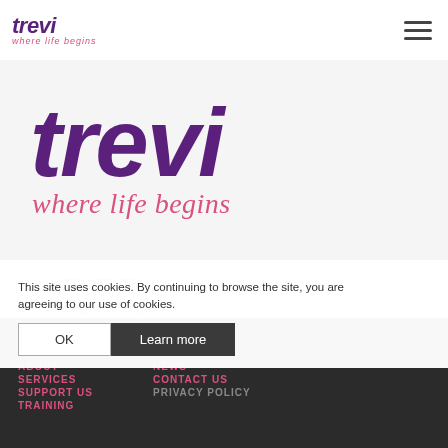trevi where life begins
[Figure (logo): Large Trevi logo in purple italic bold text with tagline 'where life begins' in pink italic below]
t: 01752 255 758
e: office@trevi.org.uk
[Figure (other): Row of 5 social media icons (Facebook, Twitter, Instagram, Pinterest/circle, LinkedIn) in pink outline style]
This site uses cookies. By continuing to browse the site, you are agreeing to our use of cookies.
ABOUT  NEWS  SERVICES  CONTACT US  SUPPORT US  TRAINING  PRIVACY POLICY